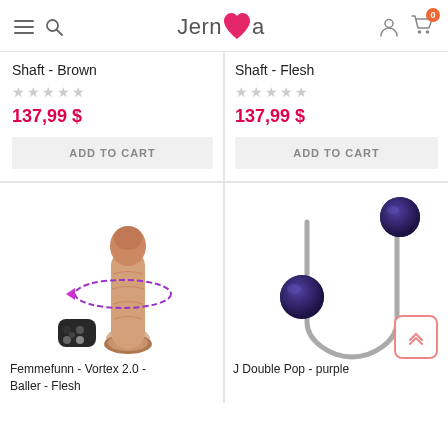Jernea (logo with navigation: hamburger menu, search, user icon, cart with 0 items)
Shaft - Brown
137,99 $
ADD TO CART
Shaft - Flesh
137,99 $
ADD TO CART
[Figure (photo): Femmefunn Vortex 2.0 Baller Flesh product photo showing a realistic flesh-colored vibrator with a purple rotating ring animation and a black remote control]
Femmefunn - Vortex 2.0 - Baller - Flesh
[Figure (photo): J Double Pop purple product photo showing a silver U-shaped metal bar with two large dark purple/navy marble-textured balls on each end]
J Double Pop - purple